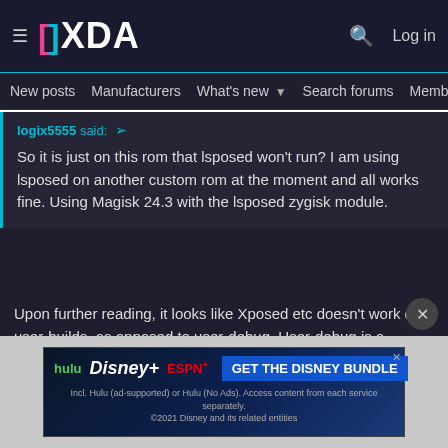XDA Forums — New posts | Manufacturers | What's new | Search forums | Members
logix5555 said: ↗
So it is just on this rom that lsposed won't run? I am using lsposed on another custom rom at the moment and all works fine. Using Magisk 24.3 with the lsposed zygisk module.
Upon further reading, it looks like Xposed etc doesn't work on user-builds, as opposed to user-debug. User-debug is a version for developers to better trace bugs. As such, user-debug has many security features disabled or weakened That's why, it is not suitable for releases.

User-debug + unlocked bootloader turn your phone into a security joke.

But anyway, I provide no support for X/Lesposed
[Figure (screenshot): Hulu Disney+ ESPN+ advertisement banner: GET THE DISNEY BUNDLE. Incl. Hulu (ad-supported) or Hulu (No Ads). Access content from each service separately. ©2021 Disney and its related entities]